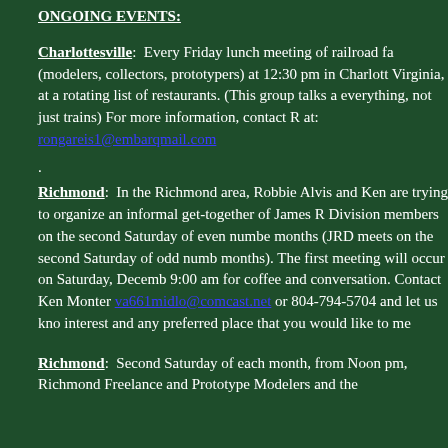ONGOING EVENTS:
Charlottesville: Every Friday lunch meeting of railroad fans (modelers, collectors, prototypers) at 12:30 pm in Charlottesville, Virginia, at a rotating list of restaurants. (This group talks about everything, not just trains) For more information, contact Ron Gareis at: rongareis1@embarqmail.com
Richmond: In the Richmond area, Robbie Alvis and Ken are trying to organize an informal get-together of James River Division members on the second Saturday of even numbered months (JRD meets on the second Saturday of odd numbered months). The first meeting will occur on Saturday, December at 9:00 am for coffee and conversation. Contact Ken Montero at va661midlo@comcast.net or 804-794-5704 and let us know your interest and any preferred place that you would like to meet.
Richmond: Second Saturday of each month, from Noon to 5 pm, Richmond Freelance and Prototype Modelers and the